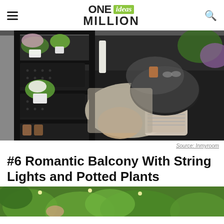ONE ideas MILLION
[Figure (photo): Overhead view of a small balcony with black metal shelving unit holding potted plants and flowers, black interlocking floor tiles, a round woven rug, a round black metal table with cup and sunglasses, and cushions on the floor.]
Source: Inmyroom
#6 Romantic Balcony With String Lights and Potted Plants
[Figure (photo): Partial view of an outdoor garden area with lush green foliage and string lights, partially cropped at the bottom of the page.]